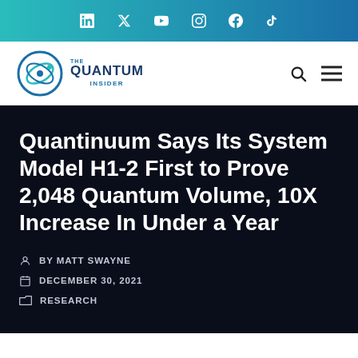LinkedIn Twitter YouTube Instagram Facebook TikTok
[Figure (logo): The Quantum Insider logo with circular orbit graphic and text]
Quantinuum Says Its System Model H1-2 First to Prove 2,048 Quantum Volume, 10X Increase In Under a Year
BY MATT SWAYNE
DECEMBER 30, 2021
RESEARCH